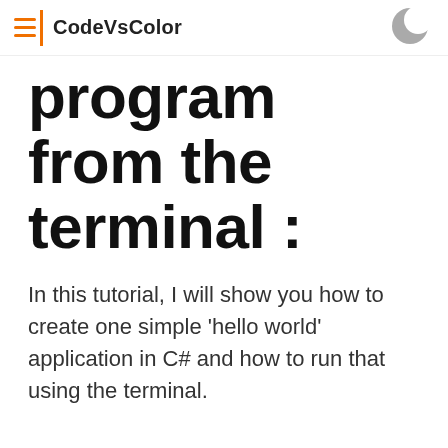CodeVsColor
program from the terminal :
In this tutorial, I will show you how to create one simple 'hello world' application in C# and how to run that using the terminal.
I am using Mac while writing this article, but the process is